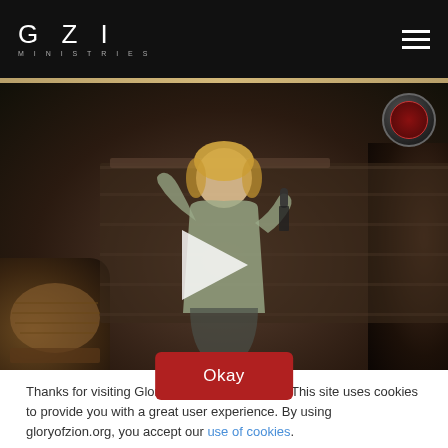GZI MINISTRIES
[Figure (screenshot): Video thumbnail showing a blonde woman speaker on stage holding a microphone, with a play button overlay. Background shows wooden panels, a wicker basket on the left, and dark fabric on the right. A circular badge/logo is visible in the top right corner of the video.]
Thanks for visiting Glory of Zion International! This site uses cookies to provide you with a great user experience. By using gloryofzion.org, you accept our use of cookies.
Okay